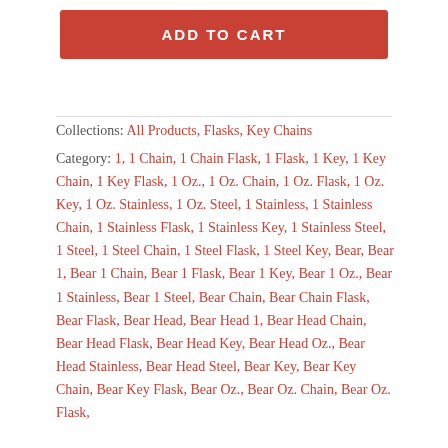ADD TO CART
Collections: All Products, Flasks, Key Chains
Category: 1, 1 Chain, 1 Chain Flask, 1 Flask, 1 Key, 1 Key Chain, 1 Key Flask, 1 Oz., 1 Oz. Chain, 1 Oz. Flask, 1 Oz. Key, 1 Oz. Stainless, 1 Oz. Steel, 1 Stainless, 1 Stainless Chain, 1 Stainless Flask, 1 Stainless Key, 1 Stainless Steel, 1 Steel, 1 Steel Chain, 1 Steel Flask, 1 Steel Key, Bear, Bear 1, Bear 1 Chain, Bear 1 Flask, Bear 1 Key, Bear 1 Oz., Bear 1 Stainless, Bear 1 Steel, Bear Chain, Bear Chain Flask, Bear Flask, Bear Head, Bear Head 1, Bear Head Chain, Bear Head Flask, Bear Head Key, Bear Head Oz., Bear Head Stainless, Bear Head Steel, Bear Key, Bear Key Chain, Bear Key Flask, Bear Oz., Bear Oz. Chain, Bear Oz. Flask,